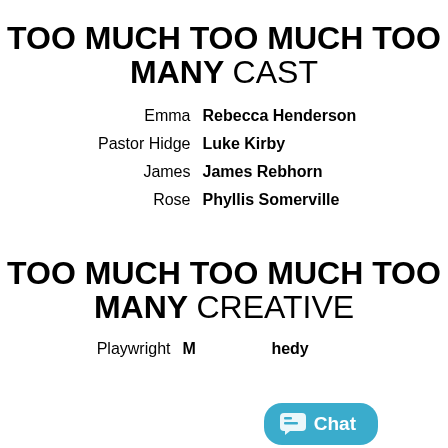TOO MUCH TOO MUCH TOO MANY CAST
Emma   Rebecca Henderson
Pastor Hidge   Luke Kirby
James   James Rebhorn
Rose   Phyllis Somerville
TOO MUCH TOO MUCH TOO MANY CREATIVE
Playwright   M[...] [...]hedy